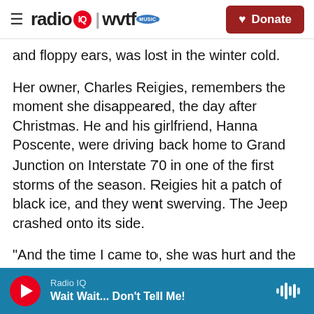radio IQ | wvtf MUSIC — Donate
and floppy ears, was lost in the winter cold.
Her owner, Charles Reigies, remembers the moment she disappeared, the day after Christmas. He and his girlfriend, Hanna Poscente, were driving back home to Grand Junction on Interstate 70 in one of the first storms of the season. Reigies hit a patch of black ice, and they went swerving. The Jeep crashed onto its side.
"And the time I came to, she was hurt and the dog was gone," he said.
It was dark out, and they were miles from any town.
Radio IQ — Wait Wait... Don't Tell Me!